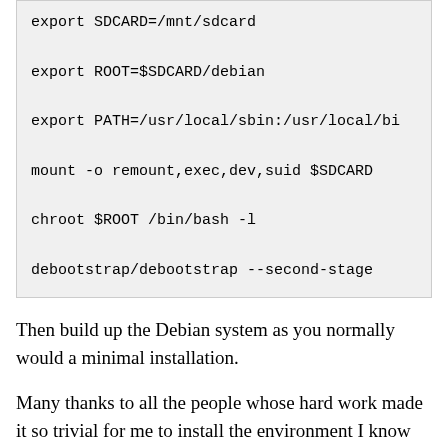export SDCARD=/mnt/sdcard
export ROOT=$SDCARD/debian
export PATH=/usr/local/sbin:/usr/local/bi
mount -o remount,exec,dev,suid $SDCARD
chroot $ROOT /bin/bash -l
debootstrap/debootstrap --second-stage
Then build up the Debian system as you normally would a minimal installation.
Many thanks to all the people whose hard work made it so trivial for me to install the environment I know and love on my phone.
If you need to run binaries from inside the chroot outside the chroot, you can use ld.so: